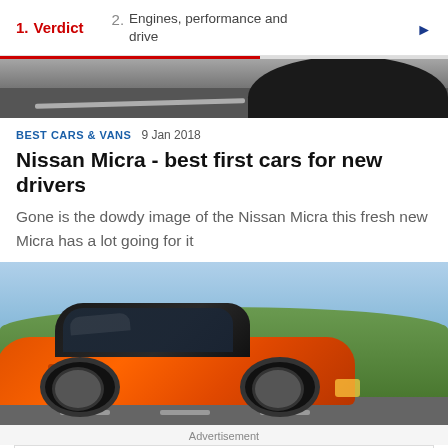1. Verdict  2. Engines, performance and drive
[Figure (photo): Close-up photo of a car tire/wheel on a road surface, viewed from low angle]
BEST CARS & VANS  9 Jan 2018
Nissan Micra - best first cars for new drivers
Gone is the dowdy image of the Nissan Micra this fresh new Micra has a lot going for it
[Figure (photo): Orange Nissan Micra hatchback driving on a rural road with green hills in the background]
Advertisement
$5 20oz Smoothies 'til 11am  Smoothie King